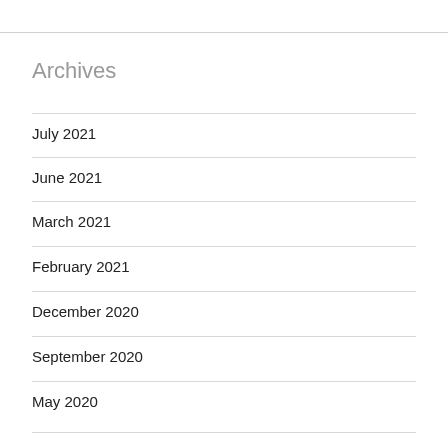Archives
July 2021
June 2021
March 2021
February 2021
December 2020
September 2020
May 2020